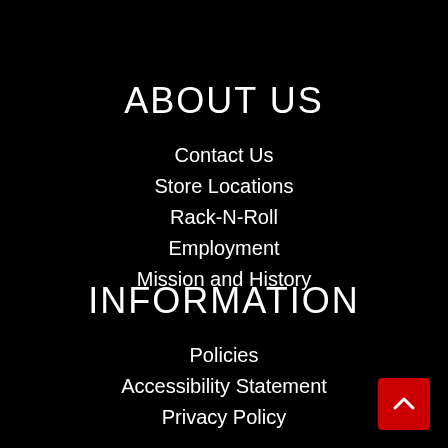ABOUT US
Contact Us
Store Locations
Rack-N-Roll
Employment
Mission and History
INFORMATION
Policies
Accessibility Statement
Privacy Policy